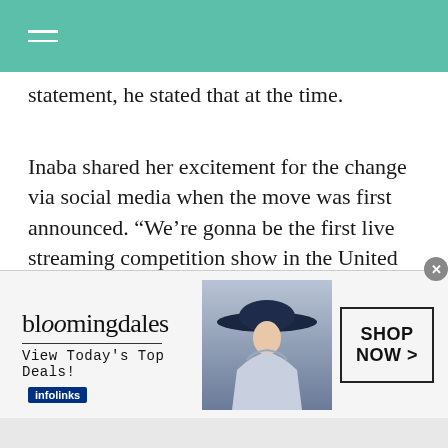statement, he stated that at the time.
Inaba shared her excitement for the change via social media when the move was first announced. “We’re gonna be the first live streaming competition show in the United States and we’re gonna be on Disney+ and that’s really exciting,” she explained in an Instagram Story at the time. “Dancing With Stars He has always been a bit of a
[Figure (other): Bloomingdales advertisement banner with woman in wide-brim hat, logo, 'View Today’s Top Deals!' text, and 'SHOP NOW >' button. Infolinks label visible at top left of ad.]